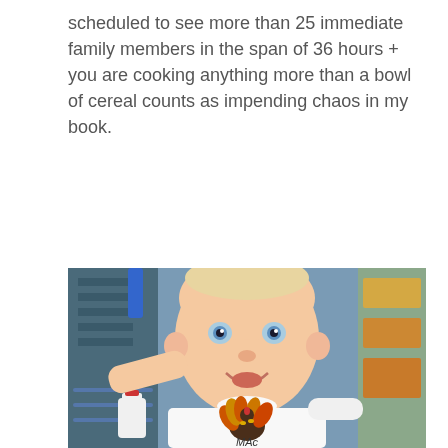scheduled to see more than 25 immediate family members in the span of 36 hours + you are cooking anything more than a bowl of cereal counts as impending chaos in my book.
[Figure (photo): A smiling baby with blue eyes sitting in a shopping cart, wearing a white long-sleeve onesie with a cartoon turkey graphic and the name 'MAC' printed below it. The background shows a store with shelves and products.]